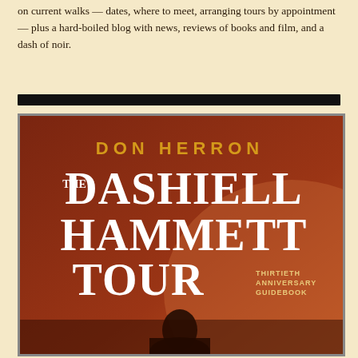on current walks — dates, where to meet, arranging tours by appointment — plus a hard-boiled blog with news, reviews of books and film, and a dash of noir.
[Figure (photo): Book cover of 'The Dashiell Hammett Tour' by Don Herron. Thirtieth Anniversary Guidebook. Brown/rust colored cover with large white serif text for the title and golden/orange text for the author name. A silhouetted figure is visible at the bottom.]